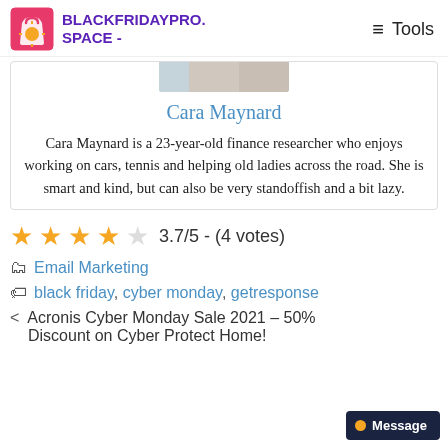BLACKFRIDAYPRO.SPACE - Tools
[Figure (photo): Partial profile photo cropped at top of card]
Cara Maynard
Cara Maynard is a 23-year-old finance researcher who enjoys working on cars, tennis and helping old ladies across the road. She is smart and kind, but can also be very standoffish and a bit lazy.
3.7/5 - (4 votes)
Email Marketing
black friday, cyber monday, getresponse
< Acronis Cyber Monday Sale 2021 – 50% Discount on Cyber Protect Home!